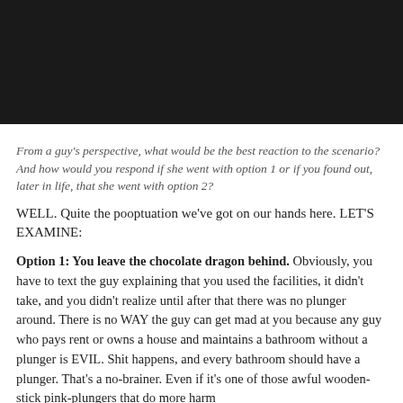[Figure (photo): Black rectangular image/banner at top of page]
From a guy's perspective, what would be the best reaction to the scenario?  And how would you respond if she went with option 1 or if you found out, later in life, that she went with option 2?
WELL. Quite the pooptuation we've got on our hands here. LET'S EXAMINE:
Option 1: You leave the chocolate dragon behind. Obviously, you have to text the guy explaining that you used the facilities, it didn't take, and you didn't realize until after that there was no plunger around. There is no WAY the guy can get mad at you because any guy who pays rent or owns a house and maintains a bathroom without a plunger is EVIL. Shit happens, and every bathroom should have a plunger. That's a no-brainer. Even if it's one of those awful wooden-stick pink-plungers that do more harm